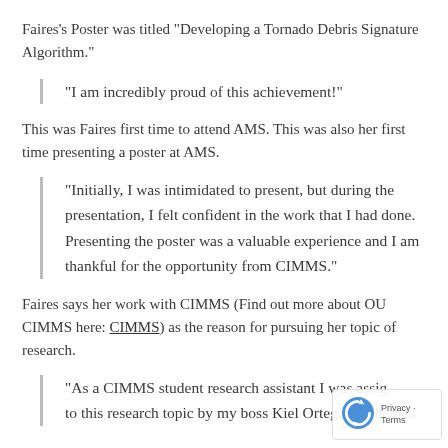Faires's Poster was titled “Developing a Tornado Debris Signature Algorithm.”
“I am incredibly proud of this achievement!”
This was Faires first time to attend AMS. This was also her first time presenting a poster at AMS.
“Initially, I was intimidated to present, but during the presentation, I felt confident in the work that I had done. Presenting the poster was a valuable experience and I am thankful for the opportunity from CIMMS.”
Faires says her work with CIMMS (Find out more about OU CIMMS here: CIMMS) as the reason for pursuing her topic of research.
“As a CIMMS student research assistant I was assigned to this research topic by my boss Kiel Ortega. He helped